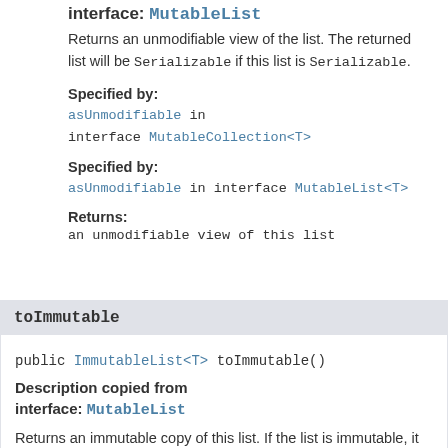interface: MutableList
Returns an unmodifiable view of the list. The returned list will be Serializable if this list is Serializable.
Specified by:
asUnmodifiable in interface MutableCollection<T>
Specified by:
asUnmodifiable in interface MutableList<T>
Returns:
an unmodifiable view of this list
toImmutable
public ImmutableList<T> toImmutable()
Description copied from interface: MutableList
Returns an immutable copy of this list. If the list is immutable, it returns itself. The returned list